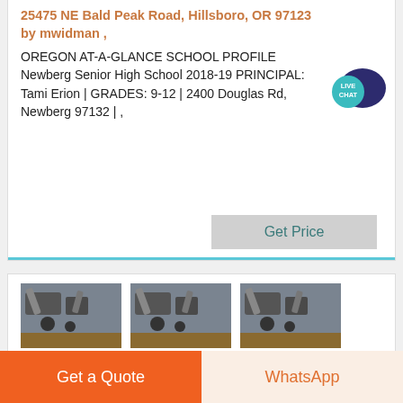25475 NE Bald Peak Road, Hillsboro, OR 97123
by mwidman ,
OREGON AT-A-GLANCE SCHOOL PROFILE Newberg Senior High School 2018-19 PRINCIPAL: Tami Erion | GRADES: 9-12 | 2400 Douglas Rd, Newberg 97132 | ,
[Figure (other): Live Chat badge icon with speech bubble]
Get Price
[Figure (photo): Three thumbnail images of industrial machinery/railroad equipment]
PortlandandWesternRR
the Taleb               will     the old SP la    d
Get a Quote
WhatsApp